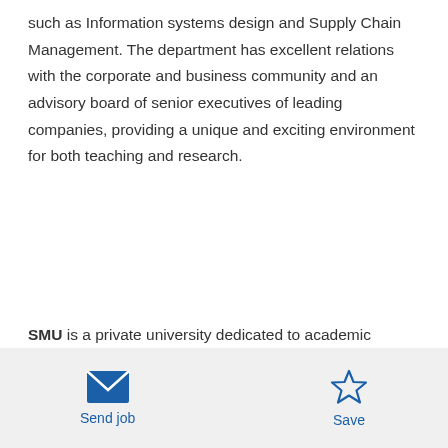such as Information systems design and Supply Chain Management. The department has excellent relations with the corporate and business community and an advisory board of senior executives of leading companies, providing a unique and exciting environment for both teaching and research.
SMU is a private university dedicated to academic excellence. Located in Dallas, SMU maintains a moderate size of about 12,000 students. SMU is designated as a preferred employer in the Dallas/Fort
[Figure (other): Footer bar with Send job (envelope icon) and Save (star icon) action buttons]